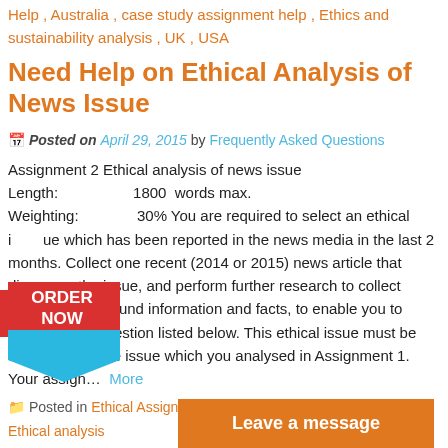Help , Australia , case study assignment help , Ethics and sustainability analysis , UK , USA
Need Help on Ethical Analysis of News Issue
Posted on April 29, 2015 by Frequently Asked Questions
Assignment 2 Ethical analysis of news issue
Length: 1800 words max.
Weighting: 30% You are required to select an ethical issue which has been reported in the news media in the last 2 months. Collect one recent (2014 or 2015) news article that discusses th eissue, and perform further research to collect relevant background information and facts, to enable you to answer each question listed below. This ethical issue must be different from the issue which you analysed in Assignment 1. Your assign… More
Posted in Ethical Assignment help   Tagged Australia , Ethical analysis , Singapore , UK , USA